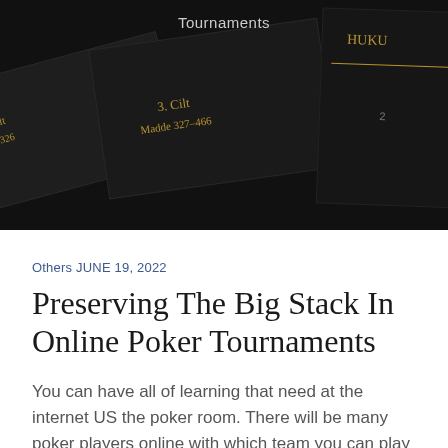[Figure (photo): Dark background photo of stacked black law books with gold text labels showing 'Cilt', 'Madde 147-326', '3. Cilt', 'Madde 327-466', and 'HUKUK' partially visible. The word 'Tournaments' appears as overlay text at the top center.]
Others JUNE 19, 2022
Preserving The Big Stack In Online Poker Tournaments
You can have all of learning that need at the internet US the poker room. There will be many poker players online with which team you can play